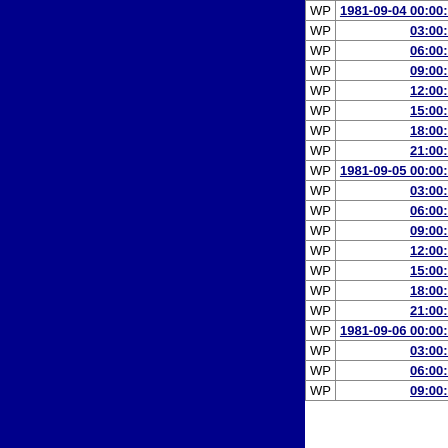|  | Datetime | Zone | Value |
| --- | --- | --- | --- |
| WP | 1981-09-04 00:00:00 | MX | 39.2… |
| WP | 03:00:00 | MX | 40.6… |
| WP | 06:00:00 | ET | 42.0… |
| WP | 09:00:00 | ET | 43.3… |
| WP | 12:00:00 | ET | 44.6… |
| WP | 15:00:00 | ET | 45.6… |
| WP | 18:00:00 | ET | 46.5… |
| WP | 21:00:00 | ET | 47.3… |
| WP | 1981-09-05 00:00:00 | ET | 48.2… |
| WP | 03:00:00 | ET | 49.2… |
| WP | 06:00:00 | ET | 50.0… |
| WP | 09:00:00 | ET | 50.4… |
| WP | 12:00:00 | ET | 50.7… |
| WP | 15:00:00 | ET | 51.1… |
| WP | 18:00:00 | ET | 51.5… |
| WP | 21:00:00 | ET | 51.6… |
| WP | 1981-09-06 00:00:00 | ET | 51.7… |
| WP | 03:00:00 | ET | 52.1… |
| WP | 06:00:00 | ET | 52.6… |
| WP | 09:00:00 | ET | 52.9… |